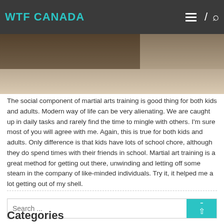WTF CANADA
[Figure (photo): Partial photo showing the lower body of a person in white martial arts uniform on a wooden floor]
The social component of martial arts training is good thing for both kids and adults. Modern way of life can be very alienating. We are caught up in daily tasks and rarely find the time to mingle with others. I'm sure most of you will agree with me. Again, this is true for both kids and adults. Only difference is that kids have lots of school chore, although they do spend times with their friends in school. Martial art training is a great method for getting out there, unwinding and letting off some steam in the company of like-minded individuals. Try it, it helped me a lot getting out of my shell.
Search ...
Categories